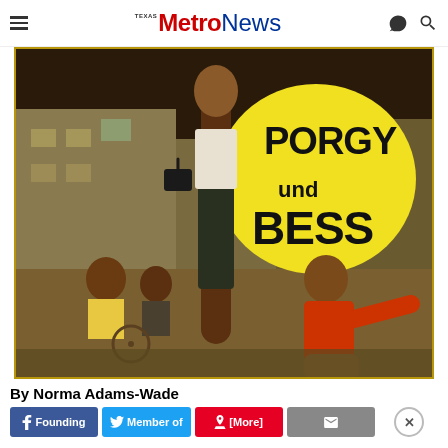Texas Metro News
[Figure (illustration): Movie poster for Porgy und Bess showing a woman standing holding a handbag and a man kneeling with arm outstretched, with large yellow circle and bold black text reading 'PORGY und BESS' against a painted urban street scene background]
By Norma Adams-Wade
Founding Member of [social share buttons]